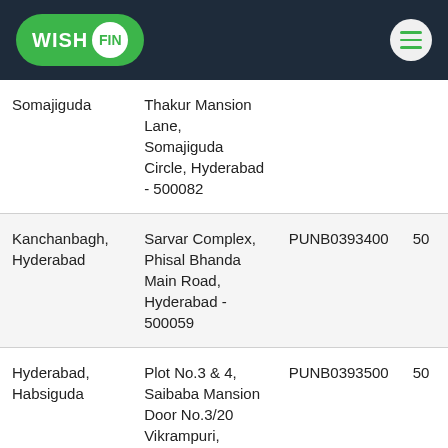[Figure (logo): WishFin logo on dark header bar with hamburger menu icon]
| Branch | Address | IFSC |  |
| --- | --- | --- | --- |
| Somajiguda | Thakur Mansion Lane, Somajiguda Circle, Hyderabad - 500082 |  |  |
| Kanchanbagh, Hyderabad | Sarvar Complex, Phisal Bhanda Main Road, Hyderabad - 500059 | PUNB0393400 | 50 |
| Hyderabad, Habsiguda | Plot No.3 & 4, Saibaba Mansion Door No.3/20 Vikrampuri, | PUNB0393500 | 50 |